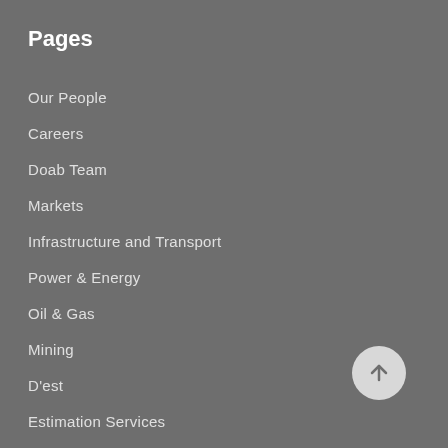Pages
Our People
Careers
Doab Team
Markets
Infrastructure and Transport
Power & Energy
Oil & Gas
Mining
D'est
Estimation Services
Project Management Services
Contact
[Figure (illustration): Circular scroll-to-top button with an upward arrow icon, light grey background]